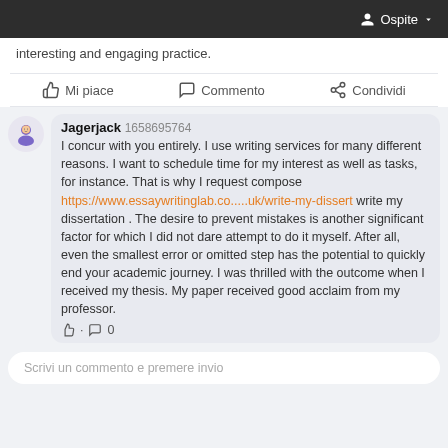Ospite
interesting and engaging practice.
Mi piace   Commento   Condividi
Jagerjack 1658695764 I concur with you entirely. I use writing services for many different reasons. I want to schedule time for my interest as well as tasks, for instance. That is why I request compose https://www.essaywritinglab.co.....uk/write-my-dissert write my dissertation . The desire to prevent mistakes is another significant factor for which I did not dare attempt to do it myself. After all, even the smallest error or omitted step has the potential to quickly end your academic journey. I was thrilled with the outcome when I received my thesis. My paper received good acclaim from my professor.
Scrivi un commento e premere invio